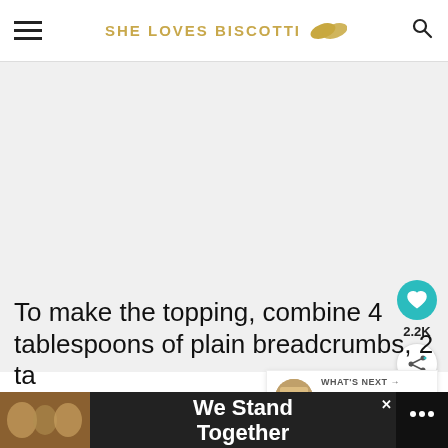SHE LOVES BISCOTTI
[Figure (photo): Large food photo area (main content image, white/light gray background)]
[Figure (illustration): Heart/like button (teal circle with heart icon) showing 2.2K and a share button below]
[Figure (photo): What's Next widget with food thumbnail and text: Zucchini Frittata Reci...]
To make the topping, combine 4 tablespoons of plain breadcrumbs, 2 ta... ...e, 1/2
[Figure (screenshot): Ad banner at bottom: group photo on left, 'We Stand Together' text in white on dark background, close X button, right-side icon with dots]